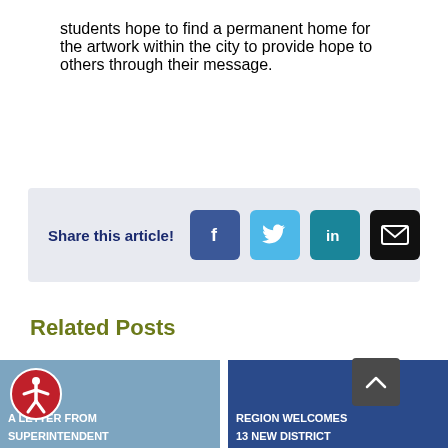students hope to find a permanent home for the artwork within the city to provide hope to others through their message.
[Figure (infographic): Share this article social media buttons: Facebook, Twitter, LinkedIn, Email on a light grey background]
Related Posts
[Figure (photo): Card with text: A LETTER FROM SUPERINTENDENT on a blue-grey background with accessibility icon overlay]
[Figure (photo): Card with text: REGION WELCOMES 13 NEW DISTRICT on a dark blue background with scroll-to-top button overlay]